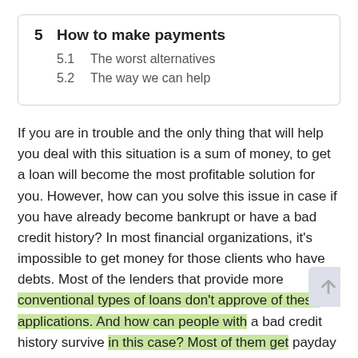5  How to make payments
5.1  The worst alternatives
5.2  The way we can help
If you are in trouble and the only thing that will help you deal with this situation is a sum of money, to get a loan will become the most profitable solution for you. However, how can you solve this issue in case if you have already become bankrupt or have a bad credit history? In most financial organizations, it's impossible to get money for those clients who have debts. Most of the lenders that provide more conventional types of loans don't approve of these applications. And how can people with a bad credit history survive in this case? Most of them get payday loans. Nonetheless, this solution can be helpful only in those situations when the borrower wants to get small